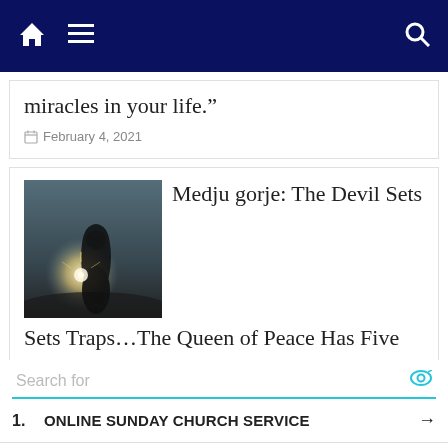Navigation bar with home, menu, and search icons
miracles in your life.”
February 4, 2021
[Figure (photo): Silhouette of a robed figure (possibly Mary) against a bright sunlit sky with lens flare]
Medjugorje: The Devil Sets Traps…The Queen of Peace Has Five Weapons That Will Protect You From Satan
July 13, 2019
Search for
1. ONLINE SUNDAY CHURCH SERVICE
2. INSPIRATIONAL BIBLE VERSES